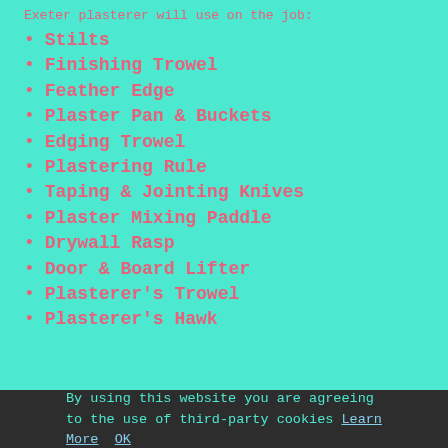Exeter plasterer will use on the job:
Stilts
Finishing Trowel
Feather Edge
Plaster Pan & Buckets
Edging Trowel
Plastering Rule
Taping & Jointing Knives
Plaster Mixing Paddle
Drywall Rasp
Door & Board Lifter
Plasterer's Trowel
Plasterer's Hawk
By using this website you are agreeing to the use of third-party cookies Learn More OK